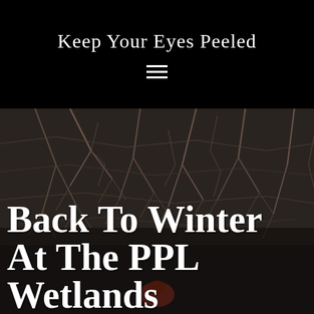Keep Your Eyes Peeled
[Figure (photo): Outdoor winter wetlands scene with bare branches and twigs in the background, and what appears to be a bird or wildlife partially visible at the bottom. Dark, muted tones with browns and grays.]
Back To Winter At The PPL Wetlands